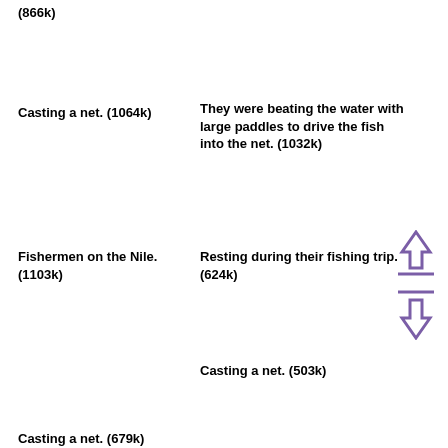(866k)
Casting a net. (1064k)
They were beating the water with large paddles to drive the fish into the net. (1032k)
Fishermen on the Nile. (1103k)
Resting during their fishing trip. (624k)
[Figure (illustration): Up and down arrow icons in purple/violet color with horizontal lines]
Casting a net. (503k)
Casting a net. (679k)